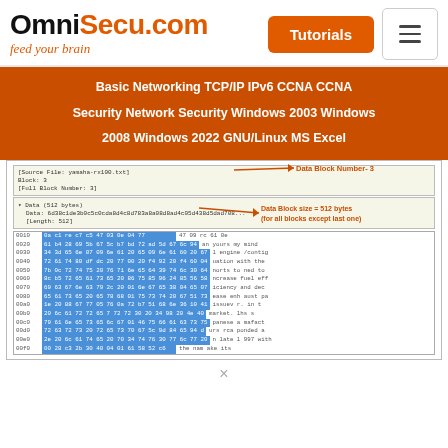[Figure (screenshot): OmniSecu.com website header with logo, Tutorials button, hamburger menu, orange navigation bar with networking topics, and a screenshot showing TFTP data block analysis with hex dump]
×